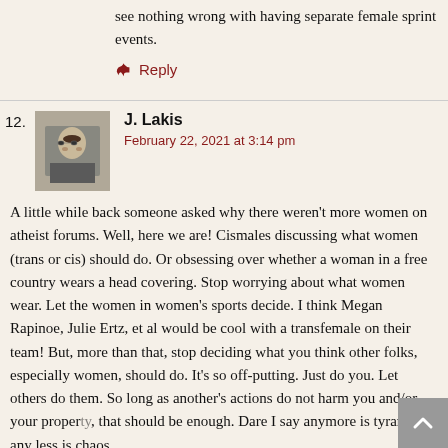see nothing wrong with having separate female sprint events.
Reply
12. J. Lakis
February 22, 2021 at 3:14 pm
A little while back someone asked why there weren't more women on atheist forums. Well, here we are! Cismales discussing what women (trans or cis) should do. Or obsessing over whether a woman in a free country wears a head covering. Stop worrying about what women wear. Let the women in women's sports decide. I think Megan Rapinoe, Julie Ertz, et al would be cool with a transfemale on their team! But, more than that, stop deciding what you think other folks, especially women, should do. It's so off-putting. Just do you. Let others do them. So long as another's actions do not harm you and/or your property, that should be enough. Dare I say anymore is tyranny, any less is chaos.